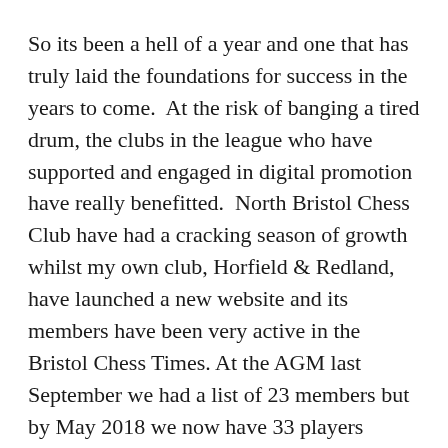So its been a hell of a year and one that has truly laid the foundations for success in the years to come.  At the risk of banging a tired drum, the clubs in the league who have supported and engaged in digital promotion have really benefitted.  North Bristol Chess Club have had a cracking season of growth whilst my own club, Horfield & Redland, have launched a new website and its members have been very active in the Bristol Chess Times. At the AGM last September we had a list of 23 members but by May 2018 we now have 33 players representing us.  A remarkable growth in membership of 43%!